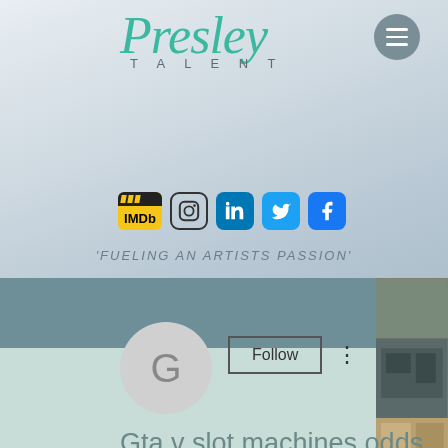[Figure (logo): Presley Talent logo in teal cursive script with 'TALENT' in spaced capitals below]
[Figure (screenshot): Social media icons row: IMDb (yellow clapboard), Instagram, LinkedIn, Twitter, Facebook]
'FUELING AN ARTISTS PASSION'
[Figure (photo): Profile page screenshot showing 'G' avatar placeholder, Follow button, profile name 'Gta v slot machines odds', 0 Followers, 0 Following]
Gta v slot machines odds
0 Followers • 0 Following